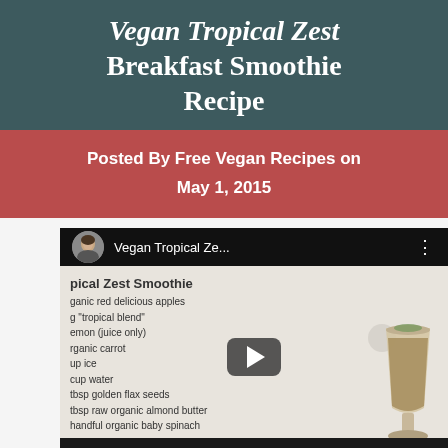Vegan Tropical Zest Breakfast Smoothie Recipe
Posted By Free Vegan Recipes on May 1, 2015
[Figure (screenshot): YouTube video thumbnail showing a whiteboard with smoothie recipe ingredients listed in handwriting: Tropical Zest Smoothie, organic red delicious apples, tropical blend, lemon (juice only), organic carrot, cup ice, cup water, tbsp golden flax seeds, tbsp raw organic almond butter, handful organic baby spinach. A smoothie glass is visible on the right side. The video title reads 'Vegan Tropical Ze...' with a play button overlay.]